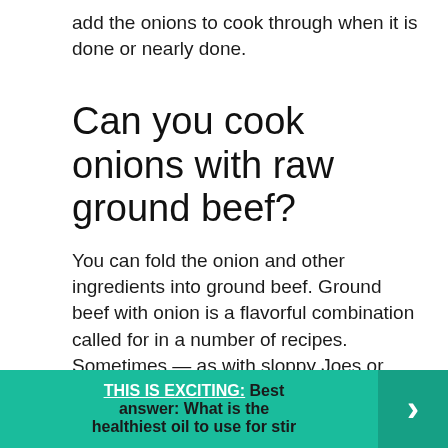add the onions to cook through when it is done or nearly done.
Can you cook onions with raw ground beef?
You can fold the onion and other ingredients into ground beef. Ground beef with onion is a flavorful combination called for in a number of recipes. Sometimes — as with sloppy Joes or beef casseroles — you can just toss diced onion into the pan with the meat while you cook it.
THIS IS EXCITING:  Best answer: What is the healthiest oil to use for stir